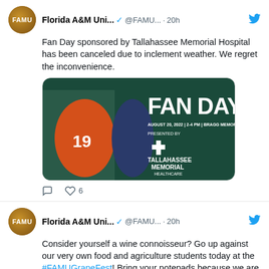Florida A&M Uni... @FAMU... · 20h — Fan Day sponsored by Tallahassee Memorial Hospital has been canceled due to inclement weather. We regret the inconvenience.
[Figure (photo): Fan Day promotional image showing a football player in orange jersey #19 and a female fan, with text 'FAN DAY August 20, 2022 | 2-4 PM | Bragg Memorial Stadium Presented by Tallahassee Memorial Healthcare']
6 likes
Florida A&M Uni... @FAMU... · 20h — Consider yourself a wine connoisseur? Go up against our very own food and agriculture students today at the #FAMUGrapeFest! Bring your notepads because we are breaking down how we make #FAMU Wine!